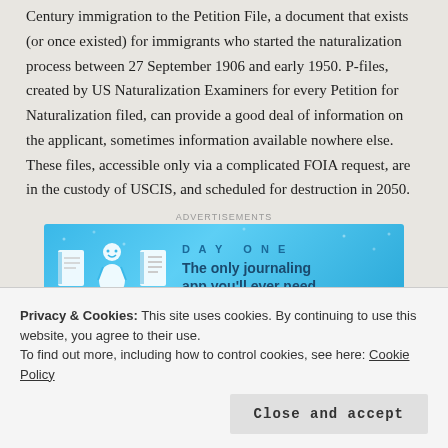Century immigration to the Petition File, a document that exists (or once existed) for immigrants who started the naturalization process between 27 September 1906 and early 1950. P-files, created by US Naturalization Examiners for every Petition for Naturalization filed, can provide a good deal of information on the applicant, sometimes information available nowhere else. These files, accessible only via a complicated FOIA request, are in the custody of USCIS, and scheduled for destruction in 2050.
[Figure (other): Advertisement banner for Day One journaling app. Blue gradient background with icons of a book, person, and notebook on the left. Text reads 'DAY ONE' and 'The only journaling app you'll ever need.']
These sessions are available to all conference attendees. The live
Privacy & Cookies: This site uses cookies. By continuing to use this website, you agree to their use.
To find out more, including how to control cookies, see here: Cookie Policy